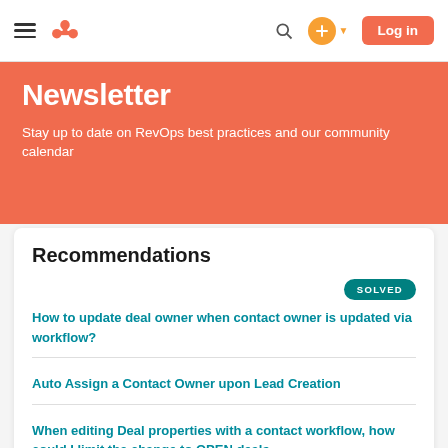HubSpot Community — Newsletter
Newsletter
Stay up to date on RevOps best practices and our community calendar
Recommendations
SOLVED
How to update deal owner when contact owner is updated via workflow?
Auto Assign a Contact Owner upon Lead Creation
When editing Deal properties with a contact workflow, how could I limit the change to OPEN deals